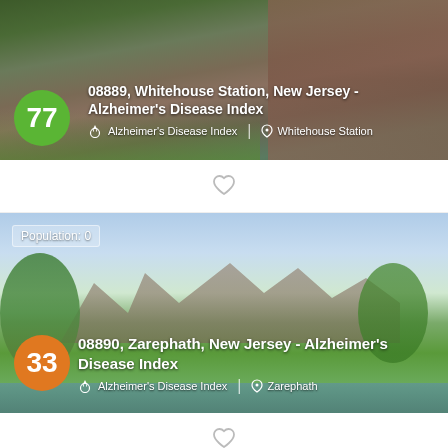[Figure (photo): Card 1: Photo of brick building with green lawn, score badge 77 in green circle. Title: 08889, Whitehouse Station, New Jersey - Alzheimer's Disease Index. Tags: Alzheimer's Disease Index, Whitehouse Station.]
♡ (heart/favorite icon)
[Figure (photo): Card 2: Photo of large houses by a lake with trees and sky. Population: 0. Score badge 33 in orange circle. Title: 08890, Zarephath, New Jersey - Alzheimer's Disease Index. Tags: Alzheimer's Disease Index, Zarephath.]
♡ (heart/favorite icon)
[Figure (photo): Card 3 (partial): Aerial photo of colorful rooftops. Population: 57585.]